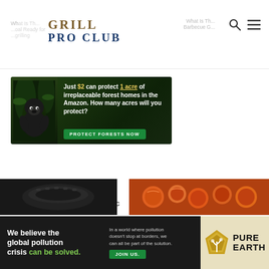GRILL PRO CLUB — navigation header with search and hamburger menu icons
[Figure (infographic): Amazon conservation ad banner: gorilla image on dark green forest background with text 'Just $2 can protect 1 acre of irreplaceable forest homes in the Amazon. How many acres will you protect?' and a green 'PROTECT FORESTS NOW' button]
ezoic — report this ad
[Figure (photo): Two partial thumbnail images at the bottom: left shows a dark grill product, right shows orange/red food items]
[Figure (infographic): Pure Earth bottom ad banner: 'We believe the global pollution crisis can be solved.' with center text 'In a world where pollution doesn't stop at borders, we can all be part of the solution. JOIN US.' and Pure Earth diamond logo on beige background]